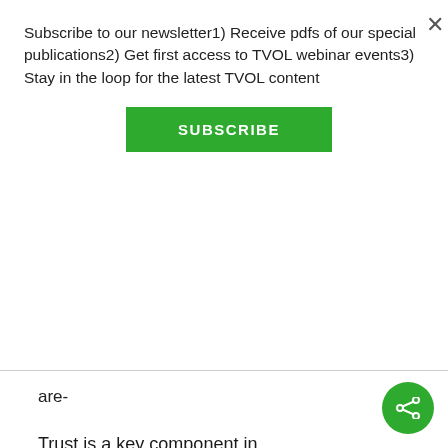Subscribe to our newsletter1) Receive pdfs of our special publications2) Get first access to TVOL webinar events3) Stay in the loop for the latest TVOL content
SUBSCRIBE
are-
Trust is a key component in business life and found to be key component in advancing investment and capital deepening Trust is promoted by